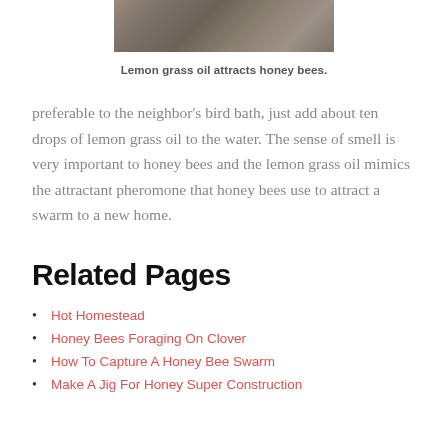[Figure (photo): Photograph of lemon grass or natural vegetation, partially visible at top of page]
Lemon grass oil attracts honey bees.
preferable to the neighbor's bird bath, just add about ten drops of lemon grass oil to the water. The sense of smell is very important to honey bees and the lemon grass oil mimics the attractant pheromone that honey bees use to attract a swarm to a new home.
Related Pages
Hot Homestead
Honey Bees Foraging On Clover
How To Capture A Honey Bee Swarm
Make A Jig For Honey Super Construction